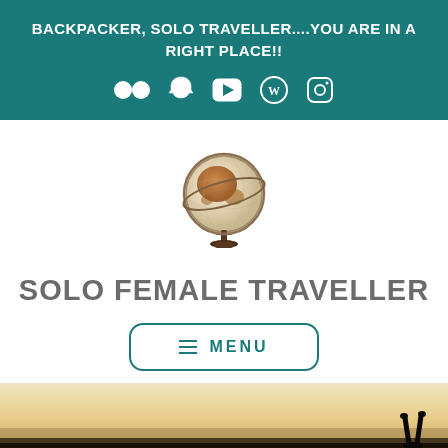BACKPACKER, SOLO TRAVELLER....YOU ARE IN A RIGHT PLACE!!
[Figure (logo): Social media icons: Flickr, Snapchat, YouTube, WordPress, Instagram displayed in white on teal background]
[Figure (illustration): Decorative globe on a stand — the logo/icon for Solo Female Traveller website]
SOLO FEMALE TRAVELLER
[Figure (other): Menu button with hamburger icon and MENU text, teal border rounded rectangle]
[Figure (photo): Partial bottom photo showing a sunset/golden sky with a person's silhouetted legs raised in the air and a dark ground strip]